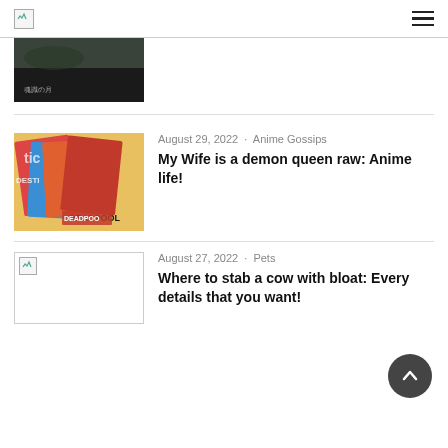[logo] [hamburger menu]
[Figure (photo): Partial view of a dark scenic image with Japanese text, cropped at top of page]
August 29, 2022 · Anime Gossips
My Wife is a demon queen raw: Anime life!
[Figure (photo): Comic book covers with colorful superhero illustrations including Deadpool]
August 27, 2022 · Pets
Where to stab a cow with bloat: Every details that you want!
[Figure (other): Broken image placeholder for the Pets article]